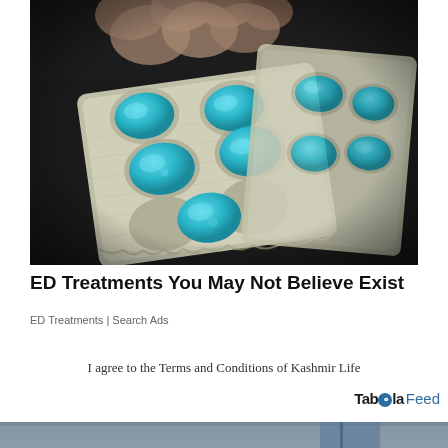[Figure (photo): A hand holding two silver blister packs containing blue diamond-shaped tablets (resembling Viagra/sildenafil pills), against a dark background]
ED Treatments You May Not Believe Exist
ED Treatments | Search Ads
I agree to the Terms and Conditions of Kashmir Life
[Figure (logo): Taboola Feed logo]
[Figure (photo): Partial bottom strip of a photo, appears to show a surface]